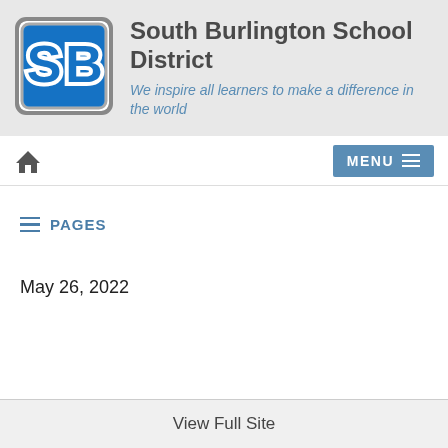[Figure (logo): South Burlington School District logo — blue 'SB' letter mark with gray outline border]
South Burlington School District
We inspire all learners to make a difference in the world
PAGES
May 26, 2022
View Full Site